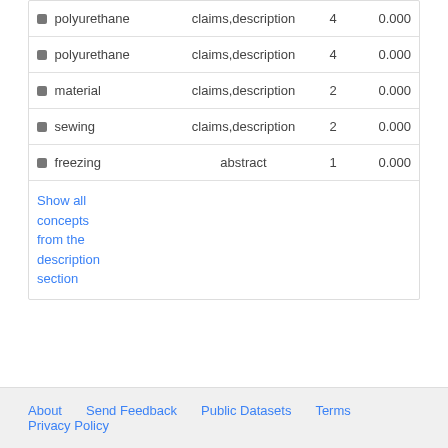| Concept | Sections | Count | Score |
| --- | --- | --- | --- |
| 🏷 polyurethane | claims,description | 4 | 0.000 |
| 🏷 polyurethane | claims,description | 4 | 0.000 |
| 🏷 material | claims,description | 2 | 0.000 |
| 🏷 sewing | claims,description | 2 | 0.000 |
| 🏷 freezing | abstract | 1 | 0.000 |
Show all concepts from the description section
About   Send Feedback   Public Datasets   Terms   Privacy Policy